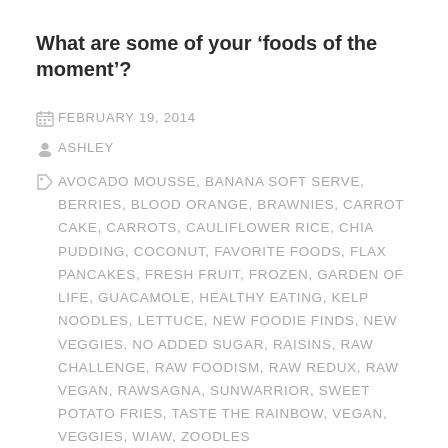What are some of your ‘foods of the moment’?
FEBRUARY 19, 2014
ASHLEY
AVOCADO MOUSSE, BANANA SOFT SERVE, BERRIES, BLOOD ORANGE, BRAWNIES, CARROT CAKE, CARROTS, CAULIFLOWER RICE, CHIA PUDDING, COCONUT, FAVORITE FOODS, FLAX PANCAKES, FRESH FRUIT, FROZEN, GARDEN OF LIFE, GUACAMOLE, HEALTHY EATING, KELP NOODLES, LETTUCE, NEW FOODIE FINDS, NEW VEGGIES, NO ADDED SUGAR, RAISINS, RAW CHALLENGE, RAW FOODISM, RAW REDUX, RAW VEGAN, RAWSAGNA, SUNWARRIOR, SWEET POTATO FRIES, TASTE THE RAINBOW, VEGAN, VEGGIES, WIAW, ZOODLES
4 COMMENTS